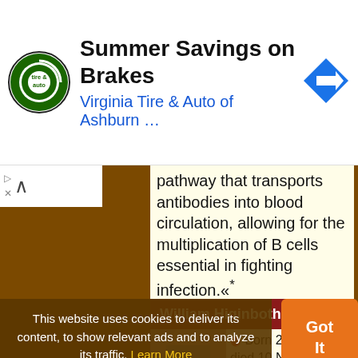[Figure (screenshot): Ad banner: Virginia Tire & Auto of Ashburn with logo and directional arrow icon. Title: Summer Savings on Brakes, subtitle: Virginia Tire & Auto of Ashburn ...]
pathway that transports antibodies into blood circulation, allowing for the multiplication of B cells essential in fighting infection.«*
William Higinbotham
Born 25 Oct 1910; died 10 Nov 1994 at age 84. American physicist who invented the
This website uses cookies to deliver its content, to show relevant ads and to analyze its traffic. Learn More
Got It